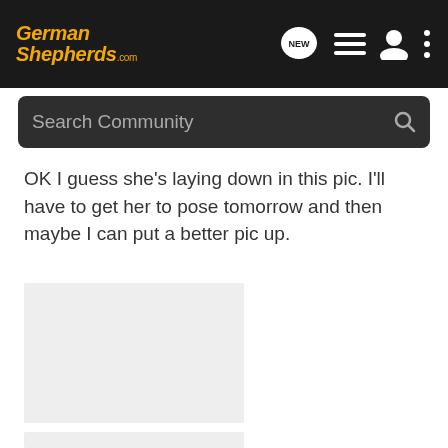GermanShepherds.com — navigation bar with NEW, list, user, and menu icons
Search Community
OK I guess she's laying down in this pic. I'll have to get her to pose tomorrow and then maybe I can put a better pic up.
[Figure (photo): Placeholder image box (light grey rectangle), first photo]
[Figure (photo): Placeholder image box (light grey rectangle), second photo]